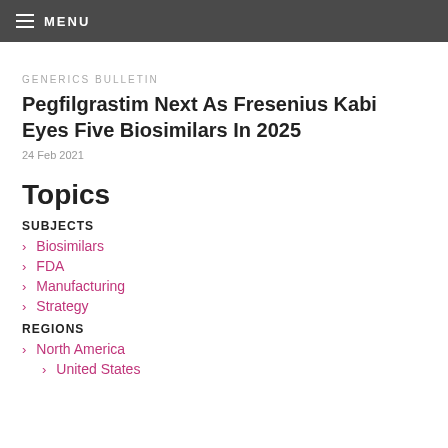MENU
GENERICS BULLETIN
Pegfilgrastim Next As Fresenius Kabi Eyes Five Biosimilars In 2025
24 Feb 2021
Topics
SUBJECTS
Biosimilars
FDA
Manufacturing
Strategy
REGIONS
North America
United States